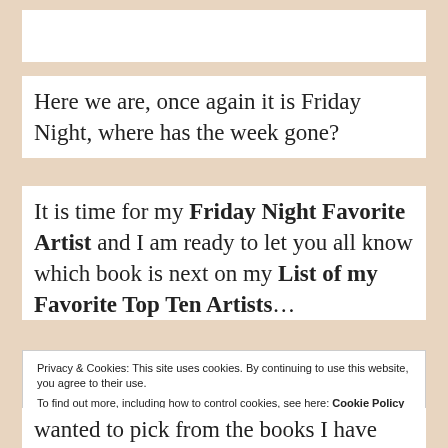Here we are, once again it is Friday Night, where has the week gone?
It is time for my Friday Night Favorite Artist and I am ready to let you all know which book is next on my List of my Favorite Top Ten Artists…
Privacy & Cookies: This site uses cookies. By continuing to use this website, you agree to their use.
To find out more, including how to control cookies, see here: Cookie Policy
Close and accept
wanted to pick from the books I have read